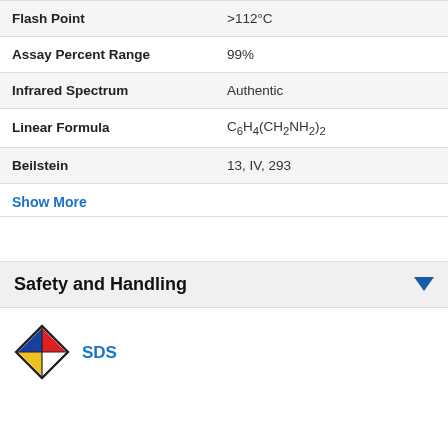| Property | Value |
| --- | --- |
| Flash Point | >112°C |
| Assay Percent Range | 99% |
| Infrared Spectrum | Authentic |
| Linear Formula | C6H4(CH2NH2)2 |
| Beilstein | 13, IV, 293 |
Show More
Safety and Handling
[Figure (logo): NFPA hazard diamond with red (top), blue (left), yellow (bottom-left), white (right) quadrants]
SDS